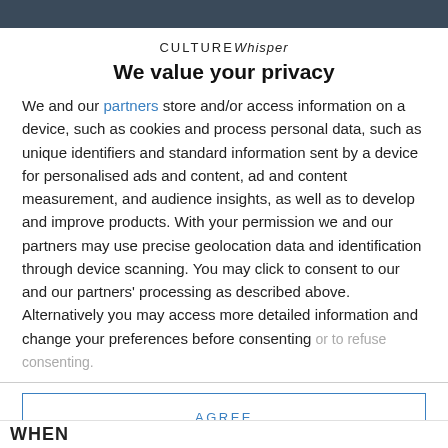[Figure (photo): Dark toned image strip at top of page, partially visible]
CULTUREWhisper
We value your privacy
We and our partners store and/or access information on a device, such as cookies and process personal data, such as unique identifiers and standard information sent by a device for personalised ads and content, ad and content measurement, and audience insights, as well as to develop and improve products. With your permission we and our partners may use precise geolocation data and identification through device scanning. You may click to consent to our and our partners' processing as described above. Alternatively you may access more detailed information and change your preferences before consenting or to refuse consenting.
AGREE
MORE OPTIONS
WHEN